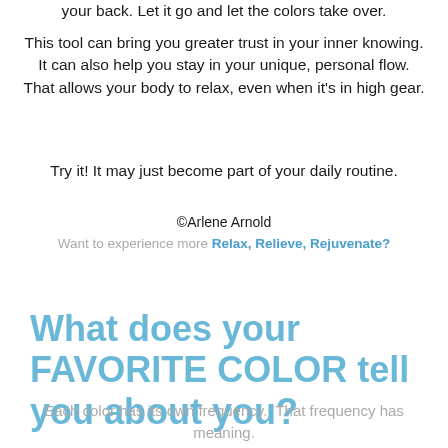your back. Let it go and let the colors take over.
This tool can bring you greater trust in your inner knowing. It can also help you stay in your unique, personal flow. That allows your body to relax, even when it's in high gear.
Try it! It may just become part of your daily routine.
©Arlene Arnold
Want to experience more Relax, Relieve, Rejuvenate?
What does your FAVORITE COLOR tell you about you?
Each color has its own frequency.  That frequency has meaning.